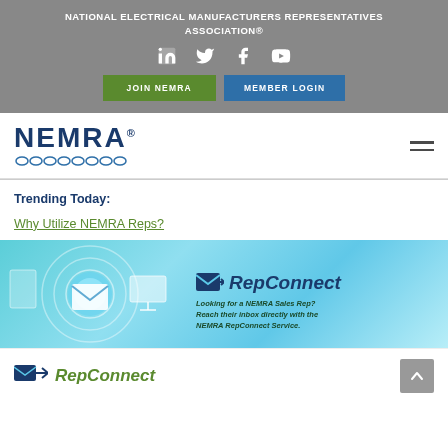NATIONAL ELECTRICAL MANUFACTURERS REPRESENTATIVES ASSOCIATION®
[Figure (screenshot): NEMRA website screenshot showing header with social media icons, JOIN NEMRA and MEMBER LOGIN buttons, NEMRA logo with chain graphic, navigation hamburger menu, Trending Today section, RepConnect banner advertisement, and RepConnect logo footer]
Trending Today:
Why Utilize NEMRA Reps?
RepConnect — Looking for a NEMRA Sales Rep? Reach their inbox directly with the NEMRA RepConnect Service.